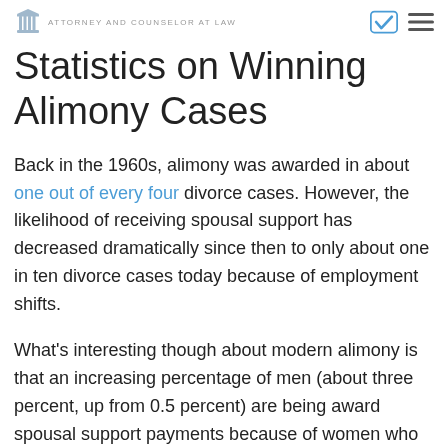ATTORNEY AND COUNSELOR AT LAW
Statistics on Winning Alimony Cases
Back in the 1960s, alimony was awarded in about one out of every four divorce cases. However, the likelihood of receiving spousal support has decreased dramatically since then to only about one in ten divorce cases today because of employment shifts.
What's interesting though about modern alimony is that an increasing percentage of men (about three percent, up from 0.5 percent) are being award spousal support payments because of women who are now the prime breadwinners in